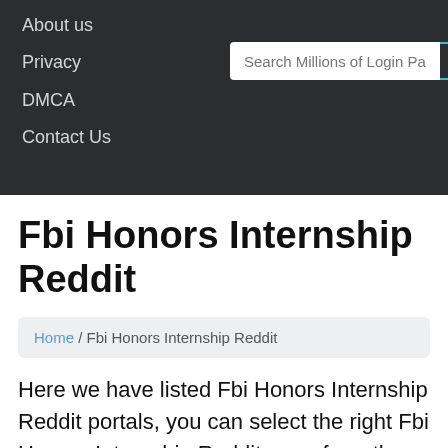About us
Privacy
DMCA
Contact Us
Fbi Honors Internship Reddit
Home / Fbi Honors Internship Reddit
Here we have listed Fbi Honors Internship Reddit portals, you can select the right Fbi Honors Internship Reddit page from the below list of pages. We try to provid the official Fbi Honors Internship Reddit page at the top of